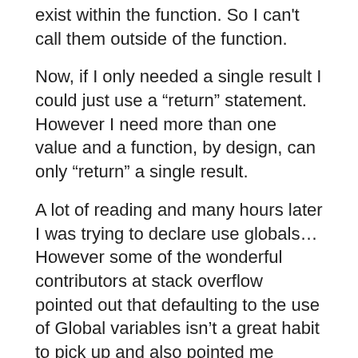exist within the function. So I can't call them outside of the function.
Now, if I only needed a single result I could just use a “return” statement. However I need more than one value and a function, by design, can only “return” a single result.
A lot of reading and many hours later I was trying to declare use globals… However some of the wonderful contributors at stack overflow pointed out that defaulting to the use of Global variables isn’t a great habit to pick up and also pointed me towards trying to use an array. Drupal, for whatever reason, also wasn’t behaving as expected when trying to use Globals. Thankfully PHP is also a much used and well documented language and I finally came across exactly the solution I needed. By returning an array and then using the php “list” function one can extract as many values as needed.
My final code looked like this: